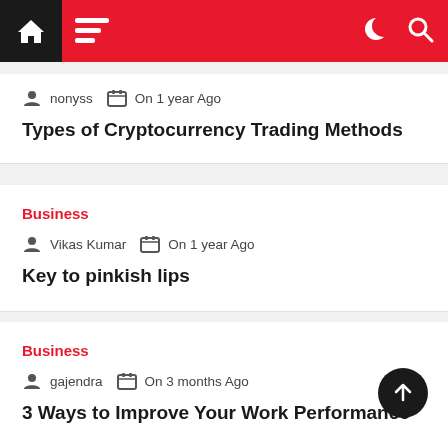Navigation bar with home, menu, dark mode and search icons
nonyss  On 1 year Ago
Types of Cryptocurrency Trading Methods
Business
Vikas Kumar  On 1 year Ago
Key to pinkish lips
Business
gajendra  On 3 months Ago
3 Ways to Improve Your Work Performance